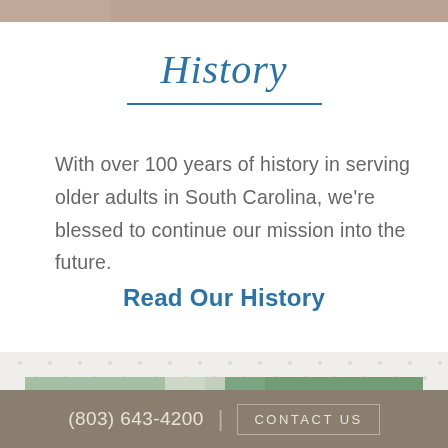[Figure (photo): Top edge of a photo showing older adults, cropped at top of page]
History
With over 100 years of history in serving older adults in South Carolina, we're blessed to continue our mission into the future.
Read Our History
[Figure (photo): Bottom photo partially visible showing a person outdoors with green background]
(803) 643-4200  |  CONTACT US